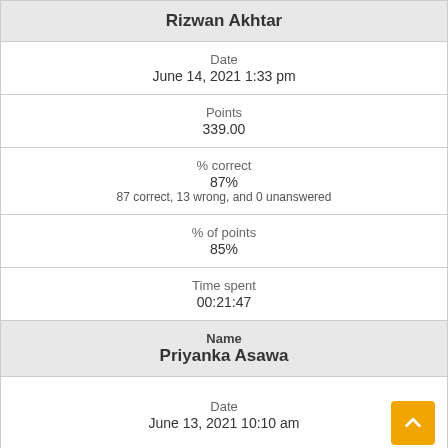| Rizwan Akhtar | Date | Points | % correct | % of points | Time spent | Name | Date |
| --- | --- | --- | --- | --- | --- | --- | --- |
| Rizwan Akhtar |
| Date | June 14, 2021 1:33 pm |
| Points | 339.00 |
| % correct | 87% | 87 correct, 13 wrong, and 0 unanswered |
| % of points | 85% |
| Time spent | 00:21:47 |
| Name | Priyanka Asawa |
| Date | June 13, 2021 10:10 am |